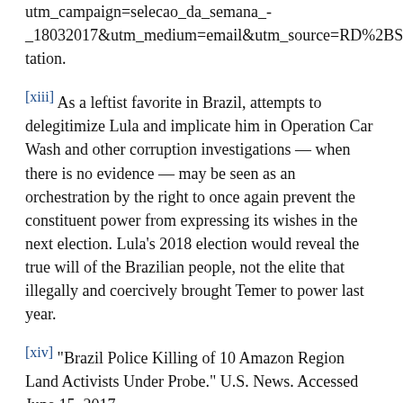seguida=1011-proteção?utm_campaign=selecao_da_semana_-_18032017&utm_medium=email&utm_source=RD%2BStation.
[xiii] As a leftist favorite in Brazil, attempts to delegitimize Lula and implicate him in Operation Car Wash and other corruption investigations — when there is no evidence — may be seen as an orchestration by the right to once again prevent the constituent power from expressing its wishes in the next election. Lula's 2018 election would reveal the true will of the Brazilian people, not the elite that illegally and coercively brought Temer to power last year.
[xiv] "Brazil Police Killing of 10 Amazon Region Land Activists Under Probe." U.S. News. Accessed June 15, 2017. https://www.usnews.com/news/world/articles/2017-05-25/brazil-police-killing-of-10-amazon-region-land-